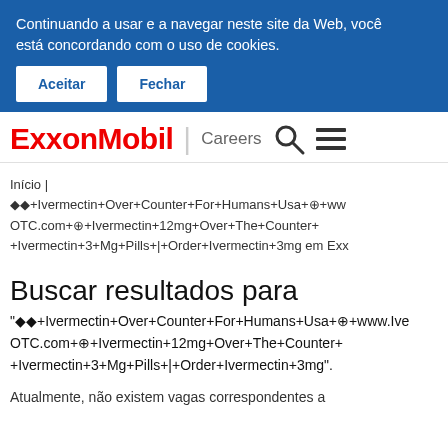Continuando a usar e a navegar neste site da Web, você está concordando com o uso de cookies.
Aceitar   Fechar
[Figure (logo): ExxonMobil logo in red bold text, followed by a vertical divider, then 'Careers' text with a search icon and hamburger menu icon]
Início | ◆◆+Ivermectin+Over+Counter+For+Humans+Usa+⊕+www. OTC.com+⊕+Ivermectin+12mg+Over+The+Counter+ +Ivermectin+3+Mg+Pills+|+Order+Ivermectin+3mg em Exx
Buscar resultados para
"◆◆+Ivermectin+Over+Counter+For+Humans+Usa+⊕+www.Ive OTC.com+⊕+Ivermectin+12mg+Over+The+Counter+ +Ivermectin+3+Mg+Pills+|+Order+Ivermectin+3mg".
Atualmente, não existem vagas correspondentes a